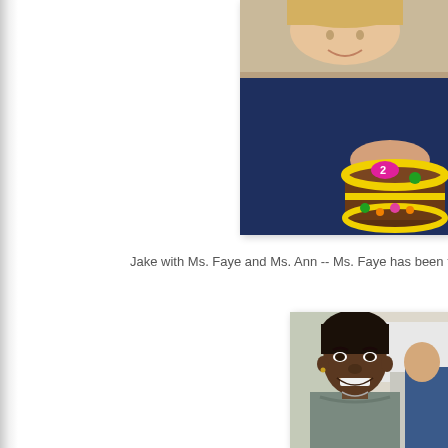[Figure (photo): Partial photo of a woman in a dark navy blue top holding a decorated chocolate cake with yellow frosting and colorful candy decorations. Tan/beige wall visible in background. Photo is cropped at the right edge of the page.]
Jake with Ms. Faye and Ms. Ann -- Ms. Faye has been taking ca
[Figure (photo): Photo of a smiling African American woman with short dark hair, wearing a gray/teal top, in what appears to be a medical or office setting. Another person partially visible to the right.]